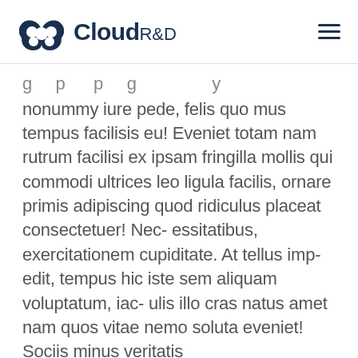Cloud R&D
g p p g nonummy iure pede, felis quo mus tempus facilisis eu! Eveniet totam nam rutrum facilisi ex ipsam fringilla mollis qui commodi ultrices leo ligula facilis, ornare primis adipiscing quod ridiculus placeat consectetuer! Nec- essitatibus, exercitationem cupiditate. At tellus imp- edit, tempus hic iste sem aliquam voluptatum, iac- ulis illo cras natus amet nam quos vitae nemo soluta eveniet! Sociis minus veritatis